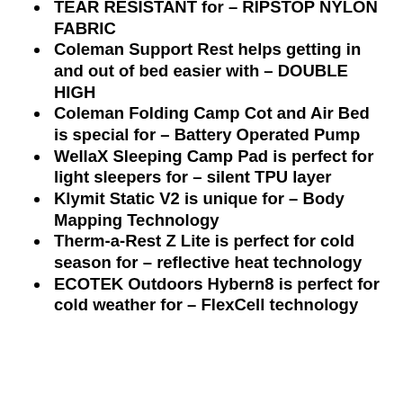TEAR RESISTANT for – RIPSTOP NYLON FABRIC
Coleman Support Rest helps getting in and out of bed easier with – DOUBLE HIGH
Coleman Folding Camp Cot and Air Bed is special for – Battery Operated Pump
WellaX Sleeping Camp Pad is perfect for light sleepers for – silent TPU layer
Klymit Static V2 is unique for – Body Mapping Technology
Therm-a-Rest Z Lite is perfect for cold season for – reflective heat technology
ECOTEK Outdoors Hybern8 is perfect for cold weather for – FlexCell technology